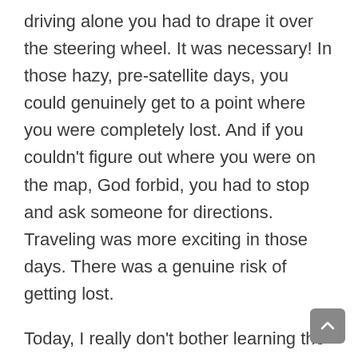driving alone you had to drape it over the steering wheel. It was necessary! In those hazy, pre-satellite days, you could genuinely get to a point where you were completely lost. And if you couldn't figure out where you were on the map, God forbid, you had to stop and ask someone for directions. Traveling was more exciting in those days. There was a genuine risk of getting lost.
Today, I really don't bother learning the roads of a new city. Now I just punch in the address and follow the directions. I can literally be on the road somewhere, get a call from my wife who's first and